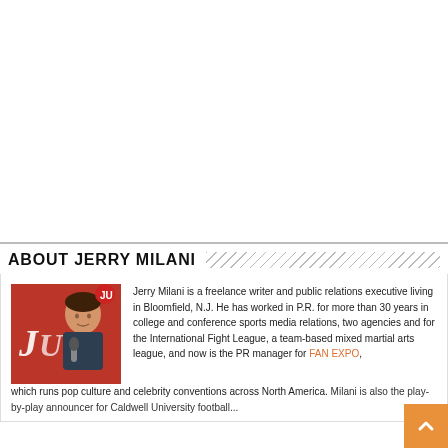[Figure (photo): Photo of Jerry Milani in front of a red background with a university logo, holding a microphone]
ABOUT JERRY MILANI
Jerry Milani is a freelance writer and public relations executive living in Bloomfield, N.J. He has worked in P.R. for more than 30 years in college and conference sports media relations, two agencies and for the International Fight League, a team-based mixed martial arts league, and now is the PR manager for FAN EXPO, which runs pop culture and celebrity conventions across North America. Milani is also the play-by-play announcer for Caldwell University football...